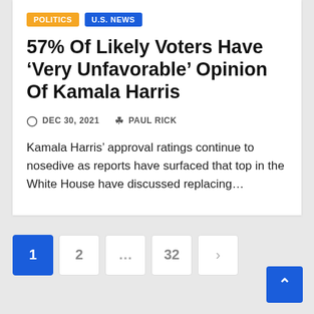POLITICS  U.S. NEWS
57% Of Likely Voters Have ‘Very Unfavorable’ Opinion Of Kamala Harris
DEC 30, 2021   PAUL RICK
Kamala Harris’ approval ratings continue to nosedive as reports have surfaced that top in the White House have discussed replacing…
Pagination: 1  2  ...  32  >